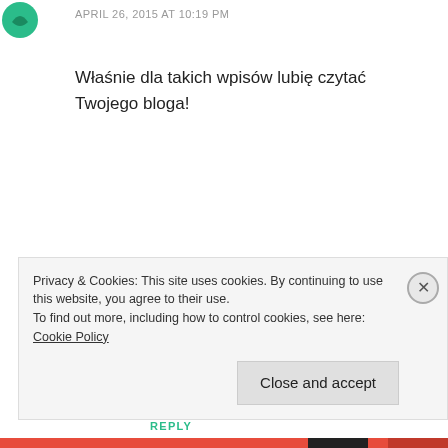APRIL 26, 2015 AT 10:19 PM
Właśnie dla takich wpisów lubię czytać Twojego bloga!
REPLY
Leave a Reply
Your email address will not be published. Required fields are marked *
Privacy & Cookies: This site uses cookies. By continuing to use this website, you agree to their use.
To find out more, including how to control cookies, see here: Cookie Policy
Close and accept